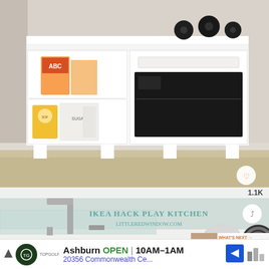[Figure (photo): White toy play kitchen with open shelves containing miniature grocery items (ABC box, sugar box, soup can) and an oven with black window. Set on a light wood floor against a beige wall.]
[Figure (photo): IKEA Hack Play Kitchen photo from littleredwindow.com showing a white play kitchen with a silver faucet, glass backsplash, and metal pan on a spiral burner. Overlaid with teal text 'IKEA HACK PLAY KITCHEN littleredwindow.com'. A 'What's Next' panel shows a thumbnail with text 'An Ikea Hack: Play Kitchen...']
1.1K
WHAT'S NEXT → An Ikea Hack: Play Kitchen...
Ashburn  OPEN  10AM–1AM  20356 Commonwealth Ce...